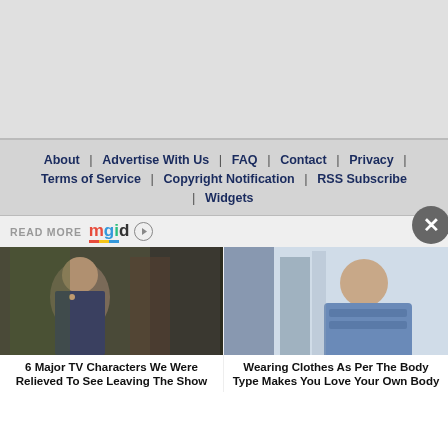[Figure (other): Gray top section / advertisement placeholder]
About | Advertise With Us | FAQ | Contact | Privacy | Terms of Service | Copyright Notification | RSS Subscribe | Widgets
READ MORE mgid
[Figure (photo): Thumbnail of a woman from a TV show scene outdoors]
[Figure (photo): Thumbnail of a young woman in a blue cardigan in a store]
6 Major TV Characters We Were Relieved To See Leaving The Show
Wearing Clothes As Per The Body Type Makes You Love Your Own Body